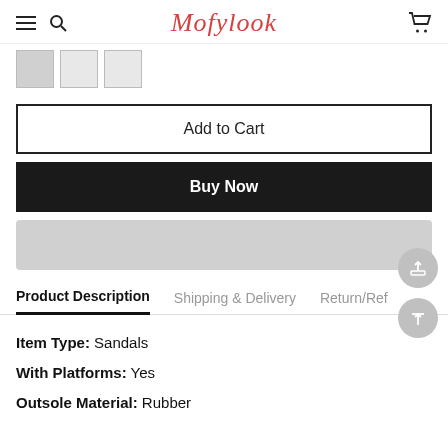Mofylook
[Figure (screenshot): Three small product thumbnail images in a row]
Add to Cart
Buy Now
Product Description   Shipping & Delivery   Return/Ref
Item Type: Sandals
With Platforms: Yes
Outsole Material: Rubber